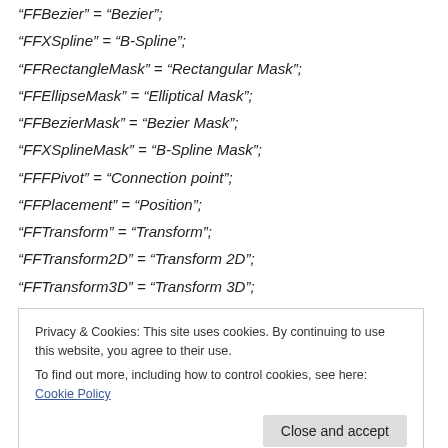“FFBezier” = “Bezier”;
“FFXSpline” = “B-Spline”;
“FFRectangleMask” = “Rectangular Mask”;
“FFEllipseMask” = “Elliptical Mask”;
“FFBezierMask” = “Bezier Mask”;
“FFXSplineMask” = “B-Spline Mask”;
“FFFPivot” = “Connection point”;
“FFPlacement” = “Position”;
“FFTransform” = “Transform”;
“FFTransform2D” = “Transform 2D”;
“FFTransform3D” = “Transform 3D”;
Privacy & Cookies: This site uses cookies. By continuing to use this website, you agree to their use.
To find out more, including how to control cookies, see here: Cookie Policy